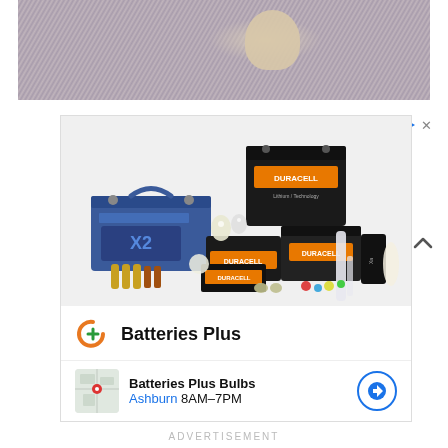[Figure (photo): Top portion of a photo showing an animal paw on a multicolored carpet/rug]
[Figure (photo): Advertisement image showing various Duracell batteries, bulbs, and power products arranged together]
Batteries Plus
Batteries Plus Bulbs
Ashburn 8AM–7PM
ADVERTISEMENT